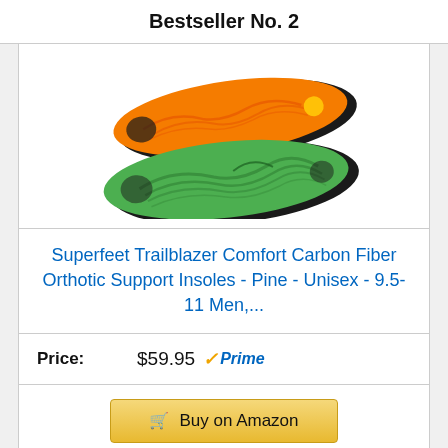Bestseller No. 2
[Figure (photo): Two shoe insoles shown from above: one orange/black on top and one green/black on the bottom, both with contoured foot support shapes.]
Superfeet Trailblazer Comfort Carbon Fiber Orthotic Support Insoles - Pine - Unisex - 9.5-11 Men,...
Price: $59.95 ✓Prime
Buy on Amazon